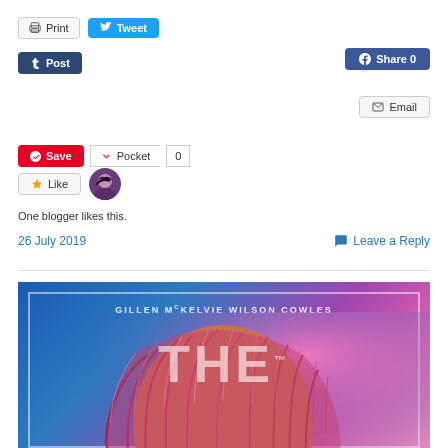[Figure (screenshot): Social sharing buttons: Print, Tweet, Post (Tumblr), Facebook Share 0, Email, Pinterest Save, Pocket 0]
[Figure (illustration): Like button with star icon and blogger avatar (person with dark hair)]
One blogger likes this.
26 July 2019
Leave a Reply
[Figure (illustration): Book cover showing 'GILLEN McKELVIE WILSON COWLES' and 'THE' title text over a blue-to-pink gradient background with illustrated figure with long pink/red hair]